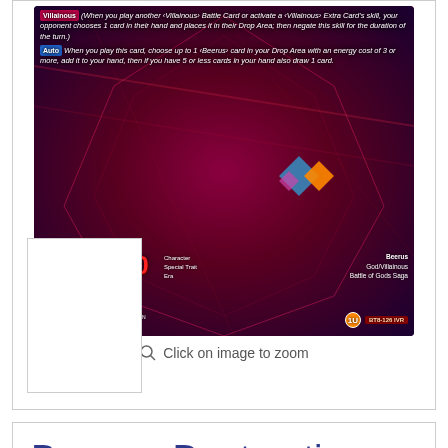[Figure (photo): Dragon Ball Super trading card: Beerus, Destructive Villain [BT8-126] IVR. Red/purple holographic card showing Beerus character with POWER 15000. Card has Villainous keyword ability and Auto ability text. Traits: God/Villainous, Battle of Gods Saga era.]
Click on image to zoom
[Figure (photo): Small thumbnail image of the same Beerus card (empty/placeholder thumbnail box)]
Beerus, Destructive Villain [BT8-126]